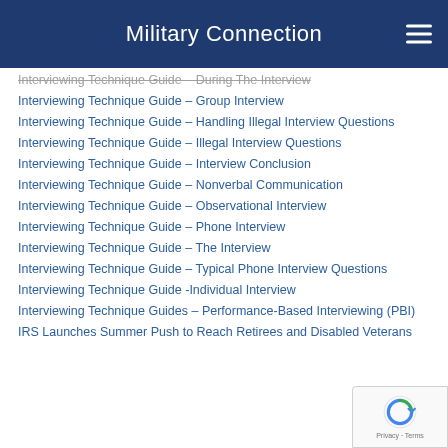Military Connection
Interviewing Technique Guide – During The Interview
Interviewing Technique Guide – Group Interview
Interviewing Technique Guide – Handling Illegal Interview Questions
Interviewing Technique Guide – Illegal Interview Questions
Interviewing Technique Guide – Interview Conclusion
Interviewing Technique Guide – Nonverbal Communication
Interviewing Technique Guide – Observational Interview
Interviewing Technique Guide – Phone Interview
Interviewing Technique Guide – The Interview
Interviewing Technique Guide – Typical Phone Interview Questions
Interviewing Technique Guide -Individual Interview
Interviewing Technique Guides – Performance-Based Interviewing (PBI)
IRS Launches Summer Push to Reach Retirees and Disabled Veterans